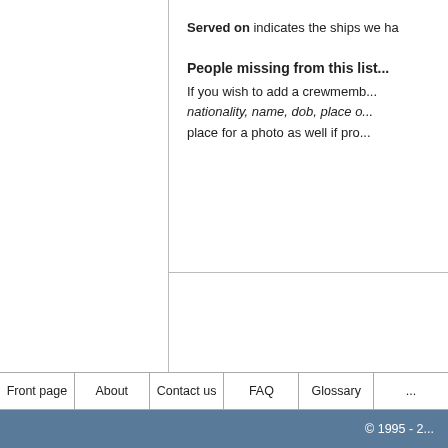Served on indicates the ships we ha...
People missing from this list...
If you wish to add a crewmember... nationality, name, dob, place o... place for a photo as well if pro...
Front page | About | Contact us | FAQ | Glossary | ...
© 1995 - 2...